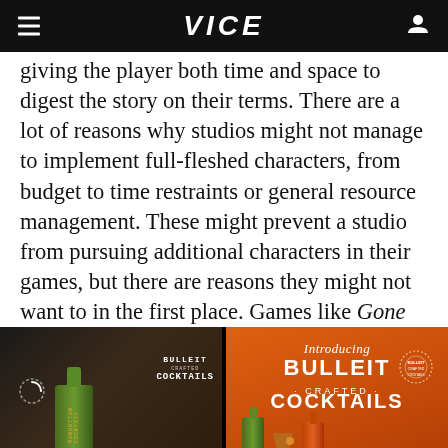VICE
giving the player both time and space to digest the story on their terms. There are a lot of reasons why studios might not manage to implement full-fleshed characters, from budget to time restraints or general resource management. These might prevent a studio from pursuing additional characters in their games, but there are reasons they might not want to in the first place. Games like Gone
[Figure (photo): Advertisement for Bulleit Crafted Cocktails showing a bartender with a green bottle labeled Manhattan Cocktail and a cocktail glass, alongside a static ad image with Bulleit Crafted Cocktails branding on orange background with product bottles]